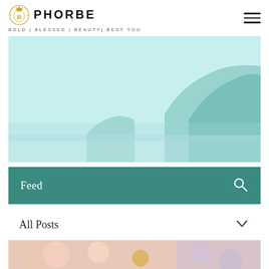[Figure (logo): Phorbe brand logo with gold emblem and text PHORBE, tagline BOLD | BLESSED | BEAUTY| BEST YOU, and hamburger menu icon]
[Figure (photo): Washed-out light blue beach scene with coastal cliffs and calm water]
Feed
All Posts